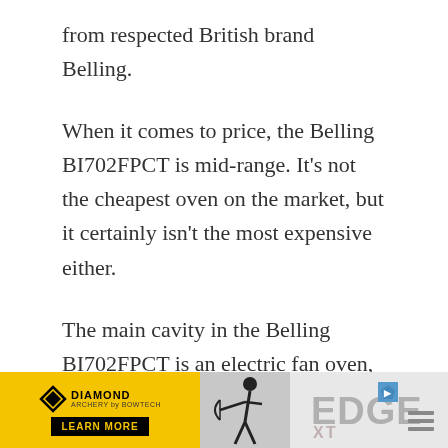from respected British brand Belling.
When it comes to price, the Belling BI702FPCT is mid-range. It’s not the cheapest oven on the market, but it certainly isn’t the most expensive either.
The main cavity in the Belling BI702FPCT is an electric fan oven, which has a capacity of 54 litres. The second cavity has a capacity of 38 litres, and comes with a useful grill function.
If you want, you can connect this oven to your s... control over b... touch.
[Figure (screenshot): Advertisement banner for Diamond Archery EDGE XT product with yellow and black branding, archer silhouette image, EDGE XT text logo, and close/menu controls.]